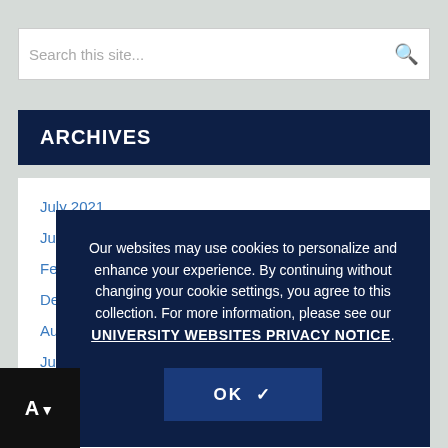Search this site...
ARCHIVES
July 2021
June 2021
February 2021
December 2020
August 2020
June 2020
December 2019
November 2019
August 2019
July 2019
Our websites may use cookies to personalize and enhance your experience. By continuing without changing your cookie settings, you agree to this collection. For more information, please see our UNIVERSITY WEBSITES PRIVACY NOTICE.
OK ✔